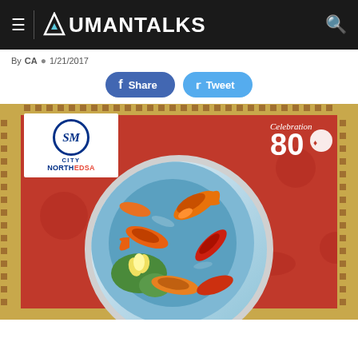AUMANTALKS
By CA  1/21/2017
Share   Tweet
[Figure (photo): Red Chinese New Year promotional image for SM City North EDSA featuring a decorative plate with colorful koi fish painting, SM City North EDSA logo in top left, and Celebration 80 logo in top right, with gold Greek key border pattern around the red background with floral motifs]